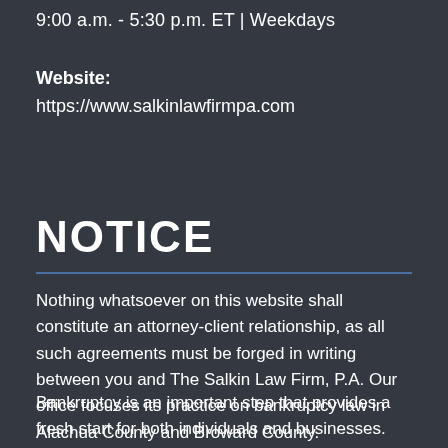9:00 a.m. - 5:30 p.m. ET | Weekdays
Website: https://www.salkinlawfirmpa.com
NOTICE
Nothing whatsoever on this website shall constitute an attorney-client relationship, as all such agreements must be forged in writing between you and The Salkin Law Firm, P.A. Our office focuses its practice on bankruptcy law in Alachua County and Broward County.
Bankruptcy is an important step that provides a fresh start for both individuals and businesses. We would be honored to explain your options and the benefits of